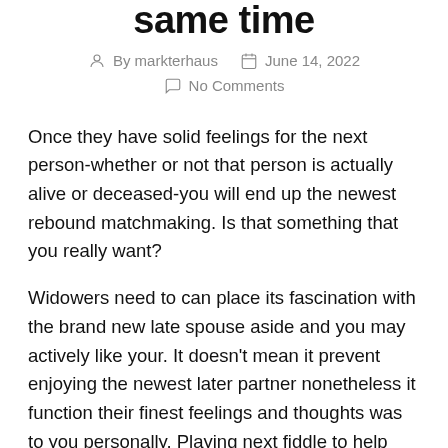same time
By markterhaus   June 14, 2022
No Comments
Once they have solid feelings for the next person-whether or not that person is actually alive or deceased-you will end up the newest rebound matchmaking. Is that something that you really want?
Widowers need to can place its fascination with the brand new late spouse aside and you may actively like your. It doesn't mean it prevent enjoying the newest later partner nonetheless it function their finest feelings and thoughts was to you personally. Playing next fiddle to help you an old boyfriend-girlfriend or ex-wife are angry enough. It is same if the body is inactive.